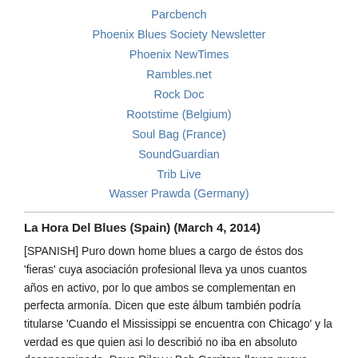Parcbench
Phoenix Blues Society Newsletter
Phoenix NewTimes
Rambles.net
Rock Doc
Rootstime (Belgium)
Soul Bag (France)
SoundGuardian
Trib Live
Wasser Prawda (Germany)
La Hora Del Blues (Spain) (March 4, 2014)
[SPANISH] Puro down home blues a cargo de éstos dos 'fieras' cuya asociación profesional lleva ya unos cuantos años en activo, por lo que ambos se complementan en perfecta armonía. Dicen que este álbum también podría titularse 'Cuando el Mississippi se encuentra con Chicago' y la verdad es que quien asi lo describió no iba en absoluto desencaminado. Dave Riley y Bob Corritore llevan nueve años juntos en activo, paseando sus blues a lo largo y ancho de todos los USA y Europa y siempre con un enorme éxito